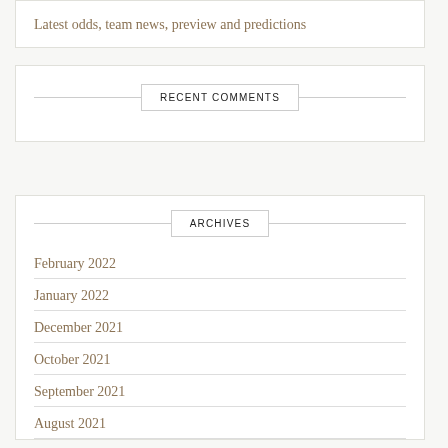Latest odds, team news, preview and predictions
RECENT COMMENTS
ARCHIVES
February 2022
January 2022
December 2021
October 2021
September 2021
August 2021